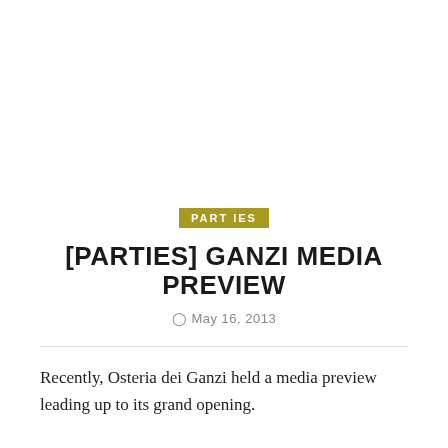PARTIES
[PARTIES] GANZI MEDIA PREVIEW
May 16, 2013
Recently, Osteria dei Ganzi held a media preview leading up to its grand opening.